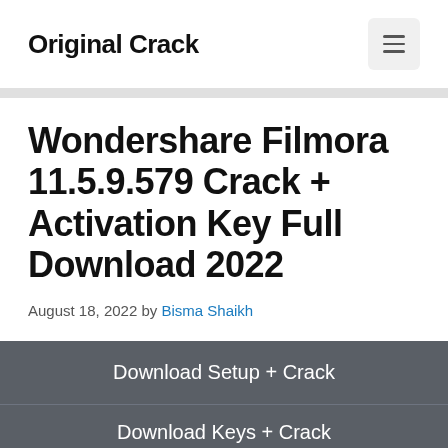Original Crack
Wondershare Filmora 11.5.9.579 Crack + Activation Key Full Download 2022
August 18, 2022 by Bisma Shaikh
Download Setup + Crack
Download Keys + Crack